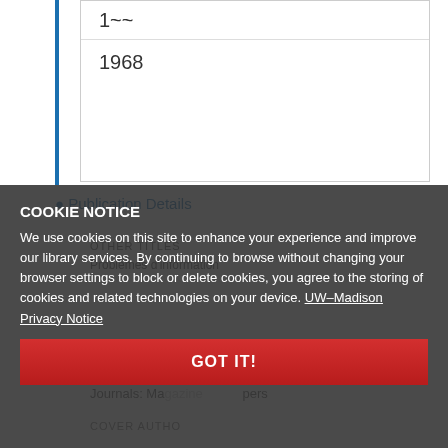1968
1968
Publication Details
OTHER TITLES
Problèmes d'information
FORMAT
Journals: Magazine, Papers
COVER AUTHOR
COOKIE NOTICE
We use cookies on this site to enhance your experience and improve our library services. By continuing to browse without changing your browser settings to block or delete cookies, you agree to the storing of cookies and related technologies on your device. UW–Madison Privacy Notice
GOT IT!